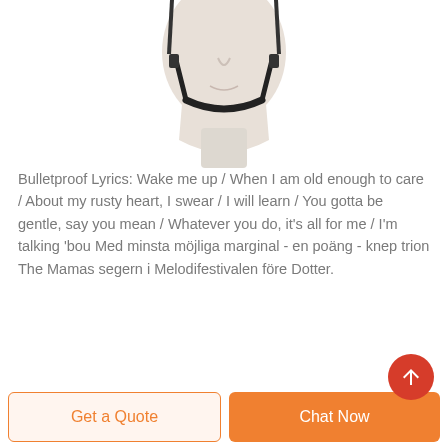[Figure (photo): A mannequin head wearing a clear face shield/helmet with black chin strap, viewed from the front, cropped to show chin and neck area]
Bulletproof Lyrics: Wake me up / When I am old enough to care / About my rusty heart, I swear / I will learn / You gotta be gentle, say you mean / Whatever you do, it's all for me / I'm talking 'bou Med minsta möjliga marginal - en poäng - knep trion The Mamas segern i Melodifestivalen före Dotter.